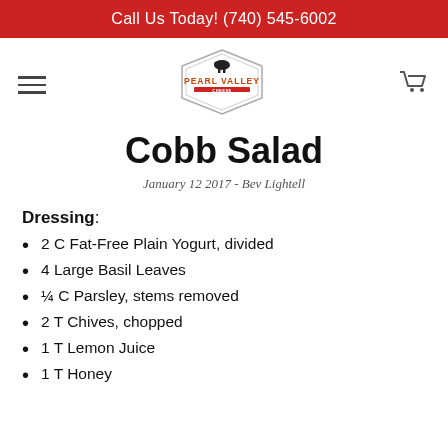Call Us Today! (740) 545-6002
[Figure (logo): Pearl Valley Cheese logo — hexagonal badge with cow silhouette and text PEARL VALLEY in orange/red]
Cobb Salad
January 12 2017 - Bev Lightell
Dressing:
2 C Fat-Free Plain Yogurt, divided
4 Large Basil Leaves
¼ C Parsley, stems removed
2 T Chives, chopped
1 T Lemon Juice
1 T Honey